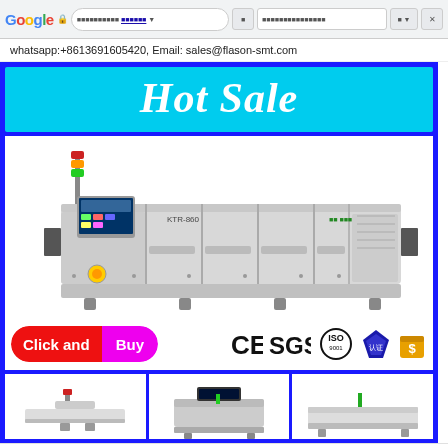[Figure (screenshot): Browser chrome bar with Google logo, lock icon, URL bar with partial text and dropdown, navigation/tab buttons]
whatsapp:+8613691605420, Email: sales@flason-smt.com
[Figure (infographic): Blue background promotional section. Cyan 'Hot Sale' banner with italic white bold text. Large industrial reflow oven machine photo (KTR-860 model). 'Click and Buy' button with red and magenta colors. CE, SGS, ISO, and two other certification logos.]
[Figure (photo): Three thumbnail images of SMT equipment at bottom: a pick-and-place machine, a reflow/inspection machine, and another SMT machine, partially visible]
Share  Call  Menu  Top